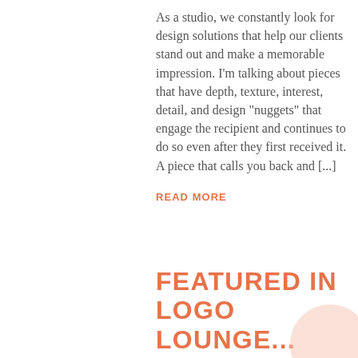As a studio, we constantly look for design solutions that help our clients stand out and make a memorable impression. I'm talking about pieces that have depth, texture, interest, detail, and design “nuggets” that engage the recipient and continues to do so even after they first received it. A piece that calls you back and [...]
READ MORE
FEATURED IN LOGO LOUNGE... AGAIN